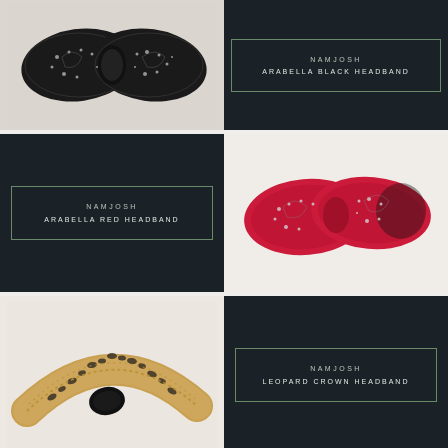[Figure (photo): Black jeweled bow headband with intricate beaded paisley pattern on dark fabric background]
[Figure (other): Dark label card reading NAMJOSH ARABELLA BLACK HEADBAND with border]
[Figure (other): Dark label card reading NAMJOSH ARABELLA RED HEADBAND with border]
[Figure (photo): Red jeweled bow headband with beaded embellishment on light background]
[Figure (photo): Leopard print crown headband with gold beaded trim on light background]
[Figure (other): Dark label card reading NAMJOSH LEOPARD CROWN HEADBAND with border]
What's your statement piece? Are you a fan of the jeweled headband? Drop a comment below!
Until then, keep sharing the pretty!